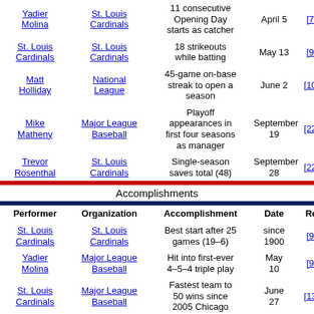| Performer | Organization | Accomplishment | Date | Ref. |
| --- | --- | --- | --- | --- |
| Yadier Molina | St. Louis Cardinals | 11 consecutive Opening Day starts as catcher | April 5 | [70] |
| St. Louis Cardinals | St. Louis Cardinals | 18 strikeouts while batting | May 13 | [98] |
| Matt Holliday | National League | 45-game on-base streak to open a season | June 2 | [105] |
| Mike Matheny | Major League Baseball | Playoff appearances in first four seasons as manager | September 19 | [220] |
| Trevor Rosenthal | St. Louis Cardinals | Single-season saves total (48) | September 28 | [227] |
Accomplishments
| Performer | Organization | Accomplishment | Date | Ref. |
| --- | --- | --- | --- | --- |
| St. Louis Cardinals | St. Louis Cardinals | Best start after 25 games (19–6) | since 1900 | [90] |
| Yadier Molina | Major League Baseball | Hit into first-ever 4–5–4 triple play | May 10 | [97] |
| St. Louis Cardinals | Major League Baseball | Fastest team to 50 wins since 2005 Chicago | June 27 | [136] |